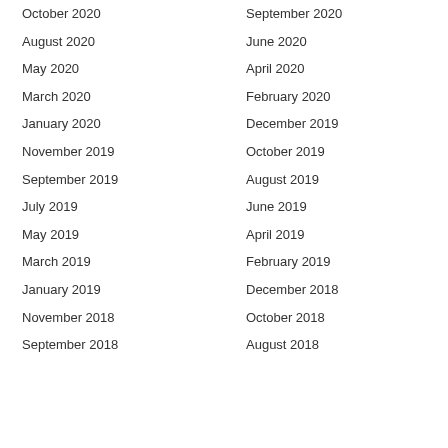October 2020
September 2020
August 2020
June 2020
May 2020
April 2020
March 2020
February 2020
January 2020
December 2019
November 2019
October 2019
September 2019
August 2019
July 2019
June 2019
May 2019
April 2019
March 2019
February 2019
January 2019
December 2018
November 2018
October 2018
September 2018
August 2018